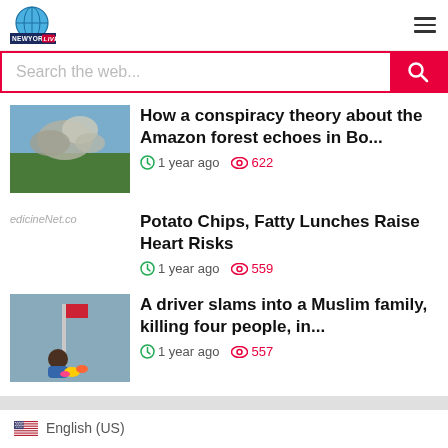[Figure (logo): NewYork 24 LIVE logo with globe icon]
Search the web...
How a conspiracy theory about the Amazon forest echoes in Bo...
1 year ago  622
Potato Chips, Fatty Lunches Raise Heart Risks
1 year ago  559
A driver slams into a Muslim family, killing four people, in...
1 year ago  557
English (US)